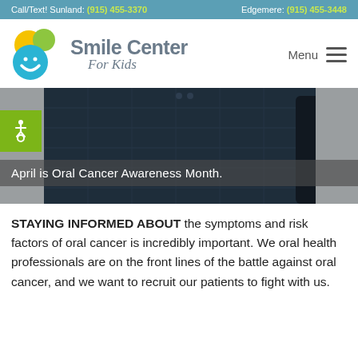Call/Text! Sunland: (915) 455-3370   Edgemere: (915) 455-3448
[Figure (logo): Smile Center For Kids logo with colorful circular bubbles (yellow, green, blue with smile) and stylized text]
[Figure (photo): Person wearing a dark navy quilted jacket/vest holding a bag, with text overlay reading 'April is Oral Cancer Awareness Month.']
STAYING INFORMED ABOUT the symptoms and risk factors of oral cancer is incredibly important. We oral health professionals are on the front lines of the battle against oral cancer, and we want to recruit our patients to fight with us.